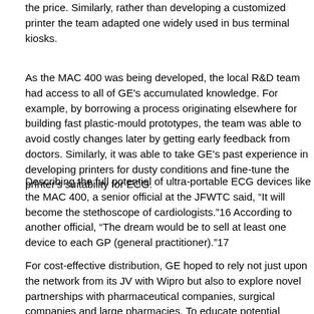the price. Similarly, rather than developing a customized printer the team adapted one widely used in bus terminal kiosks.
As the MAC 400 was being developed, the local R&D team had access to all of GE's accumulated knowledge. For example, by borrowing a process originating elsewhere for building fast plastic-mould prototypes, the team was able to avoid costly changes later by getting early feedback from doctors. Similarly, it was able to take GE's past experience in developing printers for dusty conditions and fine-tune the printer's suitability for ECG.
Describing the full potential of ultra-portable ECG devices like the MAC 400, a senior official at the JFWTC said, “It will become the stethoscope of cardiologists.”16 According to another official, “The dream would be to sell at least one device to each GP (general practitioner).”17
For cost-effective distribution, GE hoped to rely not just upon the network from its JV with Wipro but also to explore novel partnerships with pharmaceutical companies, surgical companies and large pharmacies. To educate potential customers it conducted campaigns that trained operators for using an ECG device as well